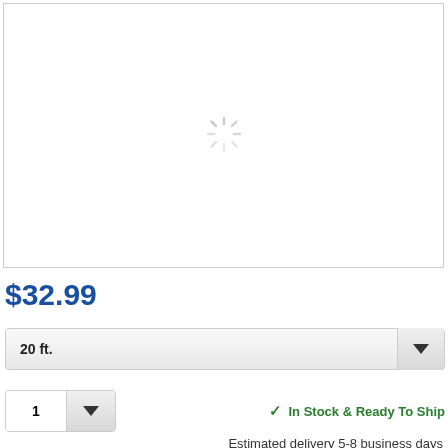[Figure (photo): Product image placeholder with loading spinner in a white bordered box]
$32.99
20 ft.
1
✓ In Stock & Ready To Ship
Estimated delivery 5-8 business days